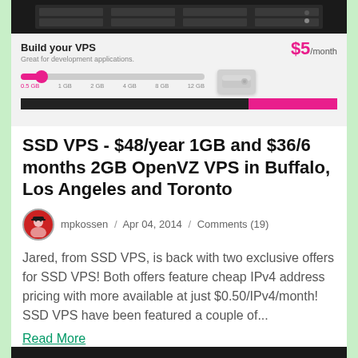[Figure (screenshot): Screenshot of SSD VPS hosting interface showing 'Build your VPS' slider with $5/month price, storage options from 0.5GB to 12GB, and a dark progress bar with pink fill.]
SSD VPS - $48/year 1GB and $36/6 months 2GB OpenVZ VPS in Buffalo, Los Angeles and Toronto
mpkossen / Apr 04, 2014 / Comments (19)
Jared, from SSD VPS, is back with two exclusive offers for SSD VPS! Both offers feature cheap IPv4 address pricing with more available at just $0.50/IPv4/month! SSD VPS have been featured a couple of...
Read More
[Figure (screenshot): Bottom partial strip showing dark header of another article card.]